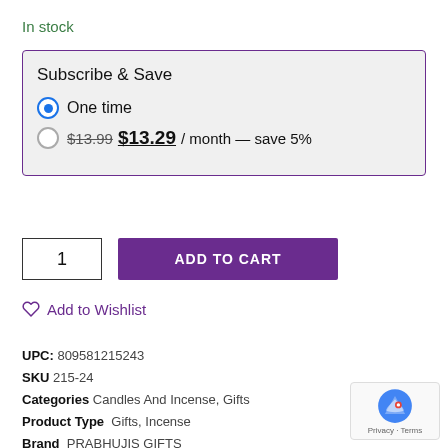In stock
Subscribe & Save
One time
$13.99 $13.29 / month — save 5%
1
ADD TO CART
Add to Wishlist
UPC: 809581215243
SKU 215-24
Categories Candles And Incense, Gifts
Product Type  Gifts, Incense
Brand  PRABHUJIS GIFTS